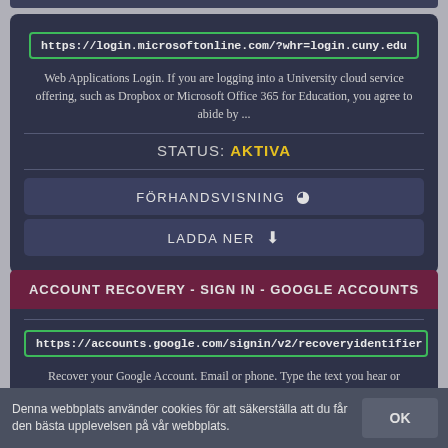https://login.microsoftonline.com/?whr=login.cuny.edu
Web Applications Login. If you are logging into a University cloud service offering, such as Dropbox or Microsoft Office 365 for Education, you agree to abide by ...
STATUS: AKTIVA
FÖRHANDSVISNING
LADDA NER
ACCOUNT RECOVERY - SIGN IN - GOOGLE ACCOUNTS
https://accounts.google.com/signin/v2/recoveryidentifier
Recover your Google Account. Email or phone. Type the text you hear or
Denna webbplats använder cookies för att säkerställa att du får den bästa upplevelsen på vår webbplats.